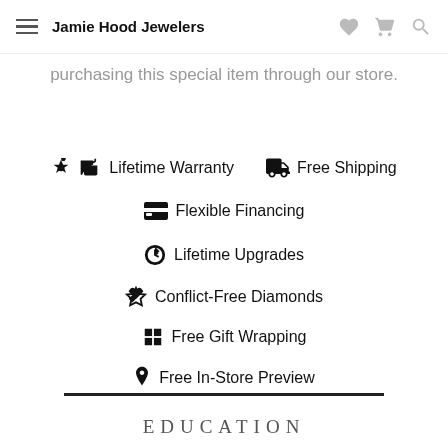Jamie Hood Jewelers
purchasing this special item through our store.
Lifetime Warranty
Free Shipping
Flexible Financing
Lifetime Upgrades
Conflict-Free Diamonds
Free Gift Wrapping
Free In-Store Preview
EDUCATION